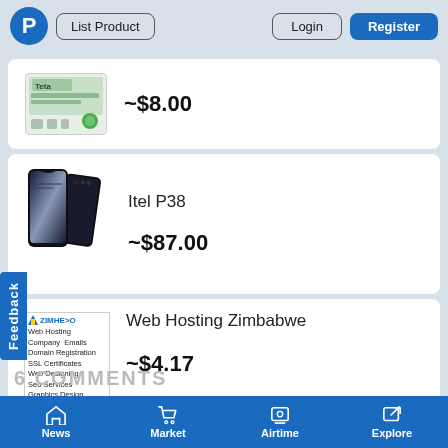P  List Product  Login  Register
[Figure (screenshot): Teta app screenshot thumbnail]
~$8.00
[Figure (photo): Itel P38 smartphone product photo]
Itel P38
~$87.00
[Figure (screenshot): Zimhero web hosting company advertisement image]
Web Hosting Zimbabwe
~$4.17
6 COMMENTS
News  Market  Airtime  Explore